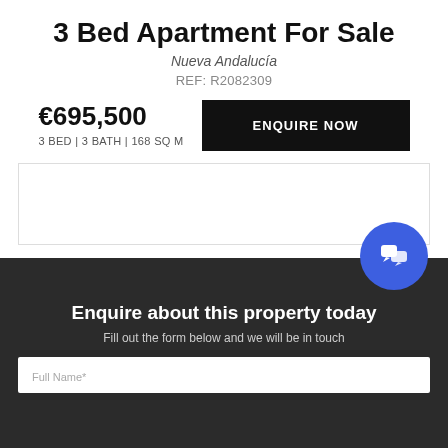3 Bed Apartment For Sale
Nueva Andalucía
REF: R2082309
€695,500
3 BED | 3 BATH | 168 SQ M
[Figure (other): ENQUIRE NOW button — black rectangular button]
[Figure (other): Property image placeholder area with border]
[Figure (other): Blue circular chat/enquiry button icon]
Enquire about this property today
Fill out the form below and we will be in touch
Full Name*